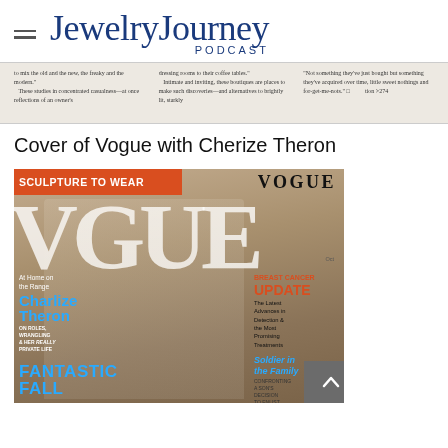Jewelry Journey PODCAST
[Figure (photo): Strip of magazine text excerpt showing columns of editorial text about boutiques mixing old and new styles]
Cover of Vogue with Cherize Theron
[Figure (photo): Vogue magazine cover featuring Charlize Theron in a white blouse. Cover includes headline 'SCULPTURE TO WEAR', 'VOGUE' masthead, text about Charlize Theron on roles, wrangling & her really private life, Breast Cancer Update, The Latest Advances in Detection & the Most Promising Treatments, Soldier in the Family: Confronting a Son's Decision to Enlist, Fantastic Fall.]